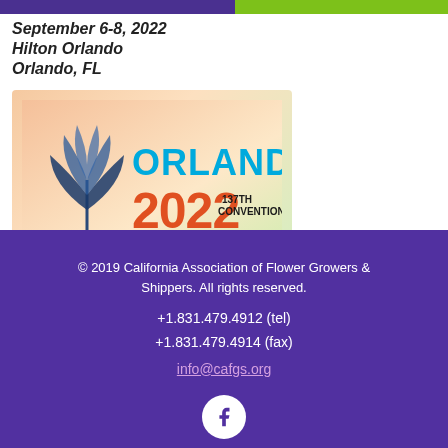September 6-8, 2022
Hilton Orlando
Orlando, FL
[Figure (logo): SAF Orlando 2022 137th Convention logo with gradient background]
© 2019 California Association of Flower Growers & Shippers. All rights reserved.
+1.831.479.4912 (tel)
+1.831.479.4914 (fax)
info@cafgs.org